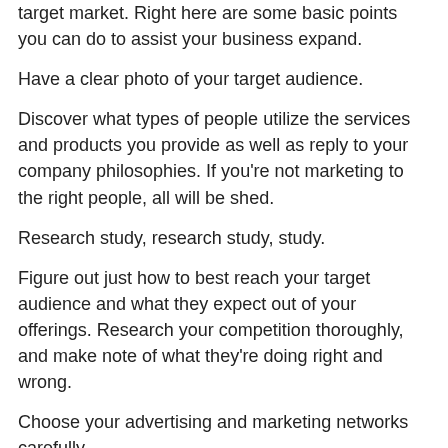target market. Right here are some basic points you can do to assist your business expand.
Have a clear photo of your target audience.
Discover what types of people utilize the services and products you provide as well as reply to your company philosophies. If you're not marketing to the right people, all will be shed.
Research study, research study, study.
Figure out just how to best reach your target audience and what they expect out of your offerings. Research your competition thoroughly, and make note of what they're doing right and wrong.
Choose your advertising and marketing networks carefully.
If your target audience rarely reviews, there's no point in marketing in a publication. Utilize what you've discovered them to discover the best possible outlets for your message, and focus your advertising and marketing initiatives there.